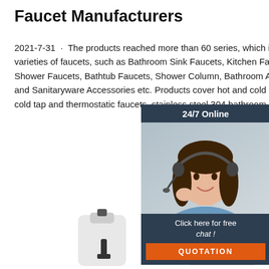Faucet Manufacturers
2021-7-31 · The products reached more than 60 series, which include varieties of faucets, such as Bathroom Sink Faucets, Kitchen Faucets, Shower Faucets, Bathtub Faucets, Shower Column, Bathroom Accessories and Sanitaryware Accessories etc. Products cover hot and cold mixer, single cold tap and thermostatic faucets, stainless steel 304 bathroom
[Figure (photo): Customer service representative wearing headset, with 24/7 Online chat widget overlay including QUOTATION button]
[Figure (illustration): Orange Get Price button]
[Figure (logo): TOP icon with orange dots forming a triangle above the word TOP]
[Figure (photo): Product images at bottom of page showing faucet products]